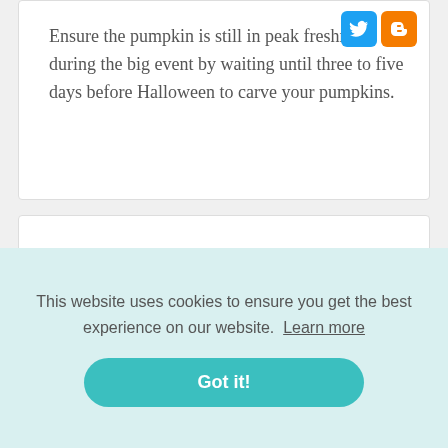[Figure (logo): Twitter and Blogger social media icons in top-right of card]
Ensure the pumpkin is still in peak freshness during the big event by waiting until three to five days before Halloween to carve your pumpkins.
What should I pack for a Disney Halloween cruise?
SOCKS.
This website uses cookies to ensure you get the best experience on our website. Learn more
Got it!